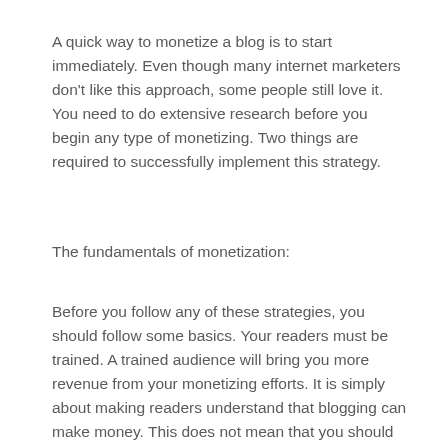A quick way to monetize a blog is to start immediately. Even though many internet marketers don’t like this approach, some people still love it. You need to do extensive research before you begin any type of monetizing. Two things are required to successfully implement this strategy.
The fundamentals of monetization:
Before you follow any of these strategies, you should follow some basics. Your readers must be trained. A trained audience will bring you more revenue from your monetizing efforts. It is simply about making readers understand that blogging can make money. This does not mean that you should be rude. You do need to be clear with them. That topic is something you could write about and something your readers will enjoy.